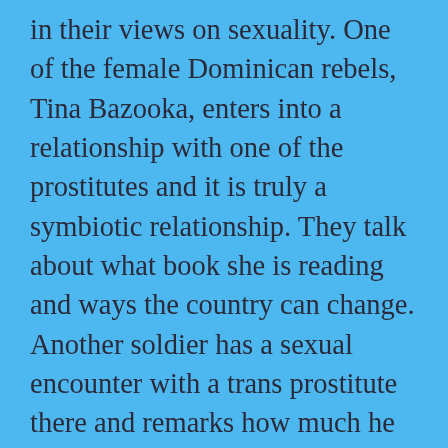in their views on sexuality. One of the female Dominican rebels, Tina Bazooka, enters into a relationship with one of the prostitutes and it is truly a symbiotic relationship. They talk about what book she is reading and ways the country can change. Another soldier has a sexual encounter with a trans prostitute there and remarks how much he likes her as she is. Though these scenes take place in a dingy brothel, they are oddly wholesome, compared to the Americans. The Americans are cartoonishly awful and hysterical about communism. Their interactions with these women are cold at best and sexual encounters are often not paid for. Seems strange for the capitalist crusaders. The American general talks about how the US government is only there to bring freedom but their actions show how subservient they see these women. Their mission to spread freedom is